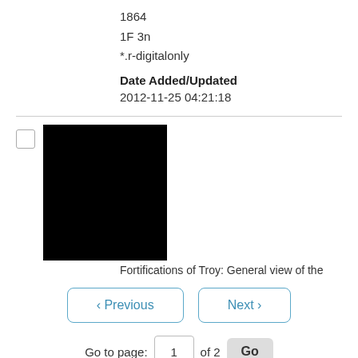1864
1F 3n
*.r-digitalonly
Date Added/Updated
2012-11-25 04:21:18
[Figure (photo): Black thumbnail image of a document or photograph]
Fortifications of Troy: General view of the
< Previous   Next >
Go to page: 1 of 2 Go